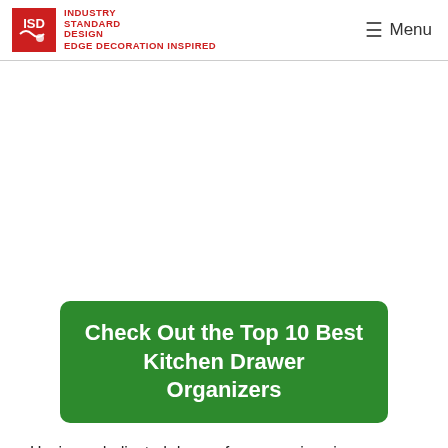INDUSTRY STANDARD DESIGN | Menu
[Figure (other): Advertisement or blank white space area]
Check Out the Top 10 Best Kitchen Drawer Organizers
Having a dedicated drawer for your spices is